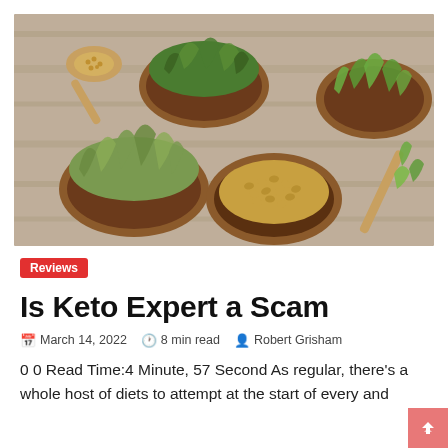[Figure (photo): Overhead view of several clay/terracotta bowls and a wooden spoon arranged on a wooden surface, each containing different types of sprouted seeds, microgreens, and whole grains including wheat berries, alfalfa sprouts, sunflower sprouts, and other green sprouts.]
Reviews
Is Keto Expert a Scam
March 14, 2022  8 min read  Robert Grisham
0 0 Read Time:4 Minute, 57 Second As regular, there's a whole host of diets to attempt at the start of every and